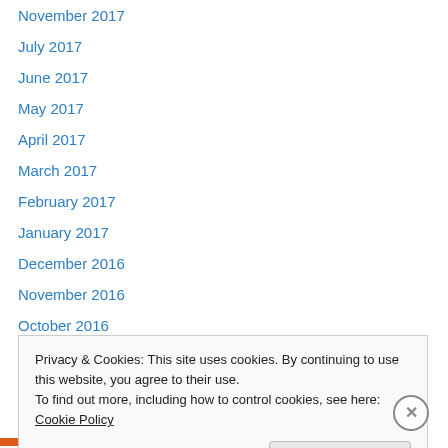November 2017
July 2017
June 2017
May 2017
April 2017
March 2017
February 2017
January 2017
December 2016
November 2016
October 2016
September 2016
August 2016
Privacy & Cookies: This site uses cookies. By continuing to use this website, you agree to their use.
To find out more, including how to control cookies, see here: Cookie Policy
Close and accept